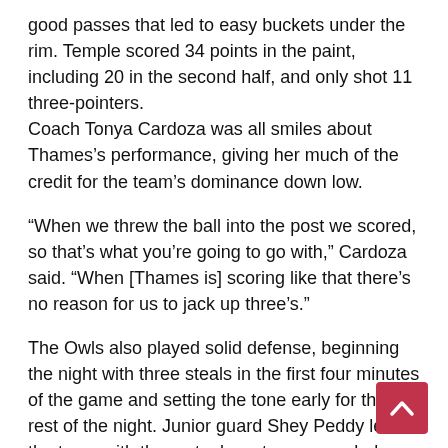good passes that led to easy buckets under the rim. Temple scored 34 points in the paint, including 20 in the second half, and only shot 11 three-pointers. Coach Tonya Cardoza was all smiles about Thames's performance, giving her much of the credit for the team's dominance down low.
“When we threw the ball into the post we scored, so that’s what you’re going to go with,” Cardoza said. “When [Thames is] scoring like that there’s no reason for us to jack up three’s.”
The Owls also played solid defense, beginning the night with three steals in the first four minutes of the game and setting the tone early for the rest of the night. Junior guard Shey Peddy led the team with three steals as team recorded eight on the night.
[Figure (other): Red scroll-to-top button with white upward chevron arrow]